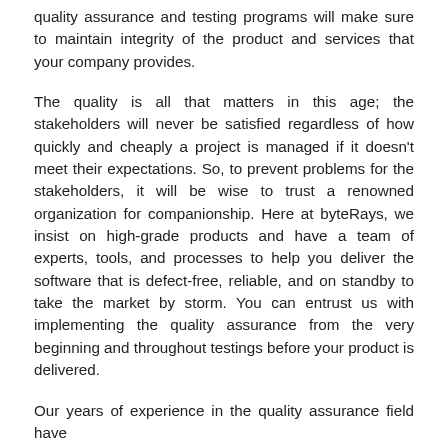quality assurance and testing programs will make sure to maintain integrity of the product and services that your company provides.
The quality is all that matters in this age; the stakeholders will never be satisfied regardless of how quickly and cheaply a project is managed if it doesn't meet their expectations. So, to prevent problems for the stakeholders, it will be wise to trust a renowned organization for companionship. Here at byteRays, we insist on high-grade products and have a team of experts, tools, and processes to help you deliver the software that is defect-free, reliable, and on standby to take the market by storm. You can entrust us with implementing the quality assurance from the very beginning and throughout testings before your product is delivered.
Our years of experience in the quality assurance field have